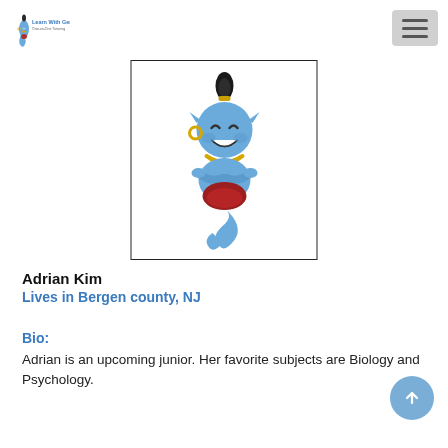Learn With Genie
[Figure (illustration): A cartoon blue genie character with a flame on top of its head, gold earrings and necklace, red sash/skirt, arms crossed, floating with a curling tail. Shown inside a white bordered rectangle.]
Adrian Kim
Lives in Bergen county, NJ
Bio:
Adrian is an upcoming junior. Her favorite subjects are Biology and Psychology.